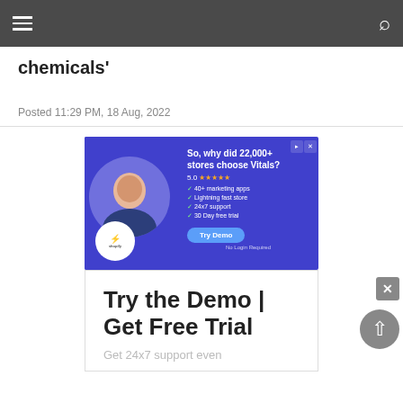Navigation bar with hamburger menu and search icon
chemicals'
Posted 11:29 PM, 18 Aug, 2022
[Figure (screenshot): Advertisement banner for Vitals Shopify app. Blue background with woman in glasses. Text: So, why did 22,000+ stores choose Vitals? 5.0 stars. Checkmarks: 40+ marketing apps, Lightning fast store, 24x7 support, 30 Day free trial. Try Demo button. No Login Required. Shopify badge.]
[Figure (screenshot): Expanded ad block on white background with large bold text: Try the Demo | Get Free Trial. Subtext: Get 24x7 support even]